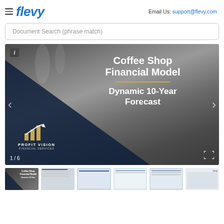Email Us: support@flevy.com
[Figure (logo): Flevy logo with hamburger menu icon and blue italic bold text]
Document Search (phrase match)
[Figure (screenshot): Slide viewer showing Coffee Shop Financial Model Dynamic 10-Year Forecast with Profit Vision Financial Services logo, coffee machine background, slide counter 1/6]
[Figure (screenshot): Thumbnail strip showing 6 slide previews]